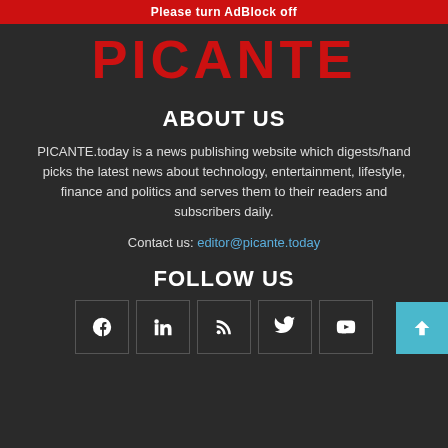Please turn AdBlock off
[Figure (logo): PICANTE logo in bold red text]
ABOUT US
PICANTE.today is a news publishing website which digests/hand picks the latest news about technology, entertainment, lifestyle, finance and politics and serves them to their readers and subscribers daily.
Contact us: editor@picante.today
FOLLOW US
[Figure (infographic): Row of social media icons: Facebook, LinkedIn, RSS, Twitter, YouTube, with a back-to-top button on the right]